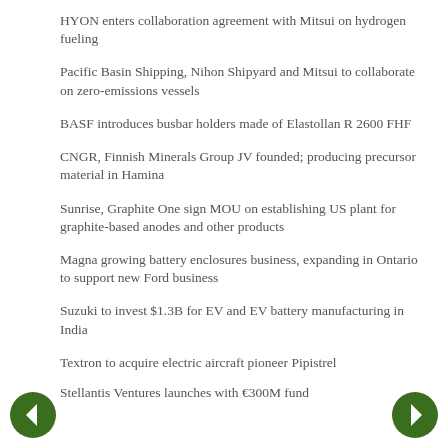HYON enters collaboration agreement with Mitsui on hydrogen fueling
Pacific Basin Shipping, Nihon Shipyard and Mitsui to collaborate on zero-emissions vessels
BASF introduces busbar holders made of Elastollan R 2600 FHF
CNGR, Finnish Minerals Group JV founded; producing precursor material in Hamina
Sunrise, Graphite One sign MOU on establishing US plant for graphite-based anodes and other products
Magna growing battery enclosures business, expanding in Ontario to support new Ford business
Suzuki to invest $1.3B for EV and EV battery manufacturing in India
Textron to acquire electric aircraft pioneer Pipistrel
Stellantis Ventures launches with €300M fund